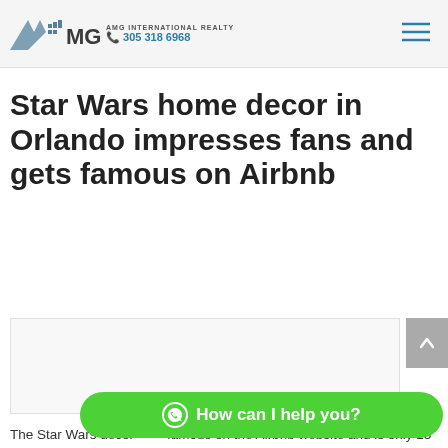AMG International Realty | 305 318 6968
Star Wars home decor in Orlando impresses fans and gets famous on Airbnb
[Figure (photo): Placeholder image area for Star Wars themed home decor photo]
The Star Wars decor... famous on the Airbnb website and is only 15
How can I help you?